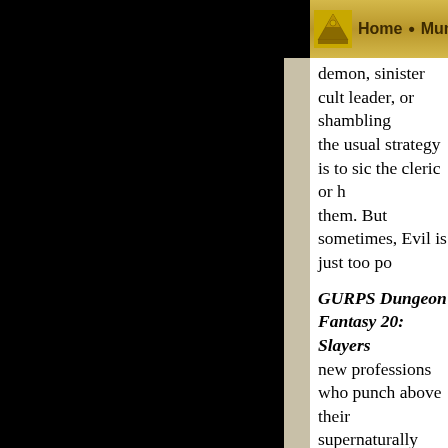Home • Munchkin • • • • Forums •
demon, sinister cult leader, or shambling the usual strategy is to sic the cleric or h them. But sometimes, Evil is just too po
GURPS Dungeon Fantasy 20: Slayers new professions who punch above their supernaturally capable opponents, giving who are just starting out a fighting chan fiends.
Demon-Slayers have the power to foes and exorcise, banish, and sla abilities assist with these tasks, wh providing combat advantages, rev hiding in plain sight, or empoweri take the fight to Hell!
Mage-Slayers can resist and dispe strike through defensive spells wit magic of their own. Advanced sla magic-users while remaining unde themselves, and deprive spell-slin mana or even their Magery.
Undead-Slayers are versed in dete